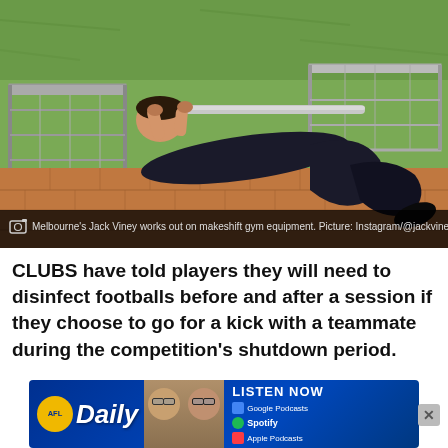[Figure (photo): A man (Melbourne's Jack Viney) doing a row exercise lying on his back, holding a horizontal metal bar above him with both hands, in an outdoor area with brick pavers. Metal rack/cage equipment visible on either side. Green grass in background.]
Melbourne's Jack Viney works out on makeshift gym equipment. Picture: Instagram/@jackviney7
CLUBS have told players they will need to disinfect footballs before and after a session if they choose to go for a kick with a teammate during the competition's shutdown period.
[Figure (infographic): AFL Daily podcast advertisement banner with AFL badge logo, 'Daily' stylized text, two radio host faces, LISTEN NOW text, Google Podcasts and Apple Podcasts buttons, and Spotify button.]